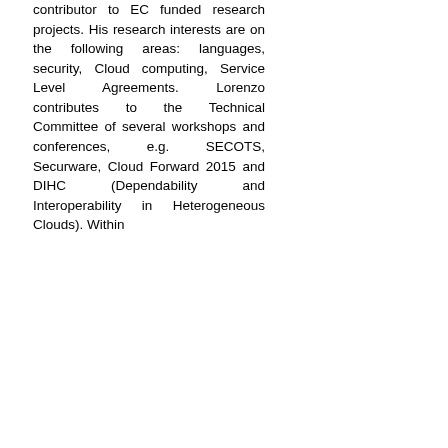contributor to EC funded research projects. His research interests are on the following areas: languages, security, Cloud computing, Service Level Agreements. Lorenzo contributes to the Technical Committee of several workshops and conferences, e.g. SECOTS, Securware, Cloud Forward 2015 and DIHC (Dependability and Interoperability in Heterogeneous Clouds). Within